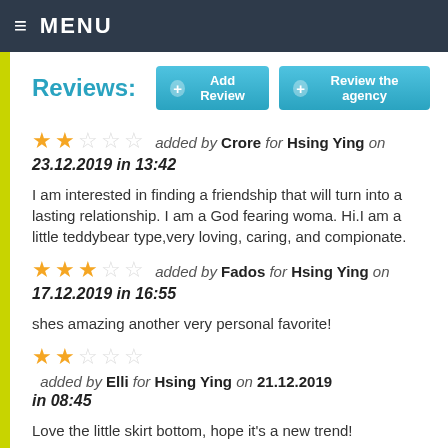≡ MENU
Reviews: + Add Review  + Review the agency
★★☆☆☆ added by Crore for Hsing Ying on 23.12.2019 in 13:42
I am interested in finding a friendship that will turn into a lasting relationship. I am a God fearing woma. Hi.I am a little teddybear type,very loving, caring, and compionate.
★★★☆☆ added by Fados for Hsing Ying on 17.12.2019 in 16:55
shes amazing another very personal favorite!
★★☆☆☆ added by Elli for Hsing Ying on 21.12.2019 in 08:45
Love the little skirt bottom, hope it's a new trend!